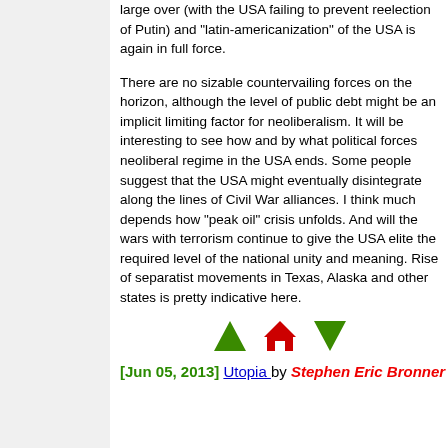large over (with the USA failing to prevent reelection of Putin) and "latin-americanization" of the USA is again in full force.
There are no sizable countervailing forces on the horizon, although the level of public debt might be an implicit limiting factor for neoliberalism. It will be interesting to see how and by what political forces neoliberal regime in the USA ends. Some people suggest that the USA might eventually disintegrate along the lines of Civil War alliances. I think much depends how "peak oil" crisis unfolds. And will the wars with terrorism continue to give the USA elite the required level of the national unity and meaning. Rise of separatist movements in Texas, Alaska and other states is pretty indicative here.
[Figure (other): Navigation icons: green up arrow, red house icon, green down arrow]
[Jun 05, 2013] Utopia by Stephen Eric Bronner